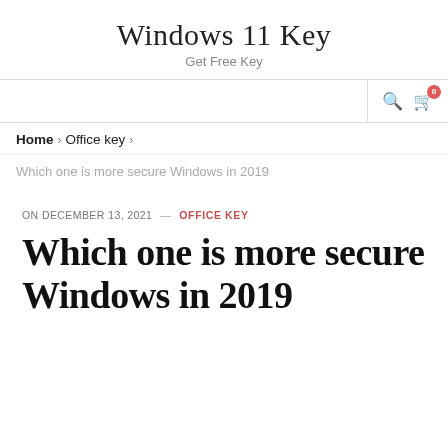Windows 11 Key
Get Free Key
Home > Office key >
Which one is more secure Windows in 2019
ON DECEMBER 13, 2021 — OFFICE KEY
Which one is more secure Windows in 2019